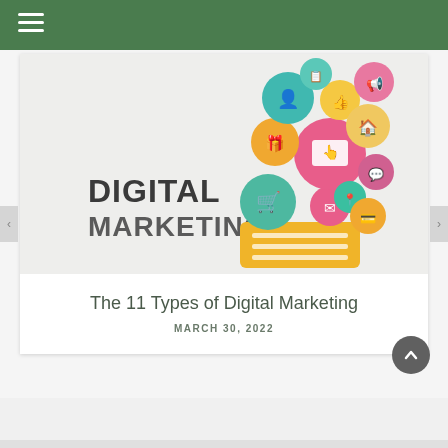[Figure (illustration): Digital marketing illustration showing a lightbulb shape made of colorful circles containing icons (shopping cart, thumbs up, person, home, gift, monitor with cursor, megaphone, speech bubble, email, location pin, shopping cart, credit card) arranged above a yellow banner with horizontal lines. Text 'DIGITAL MARKETING' in bold is displayed to the left of the icon cluster.]
The 11 Types of Digital Marketing
MARCH 30, 2022